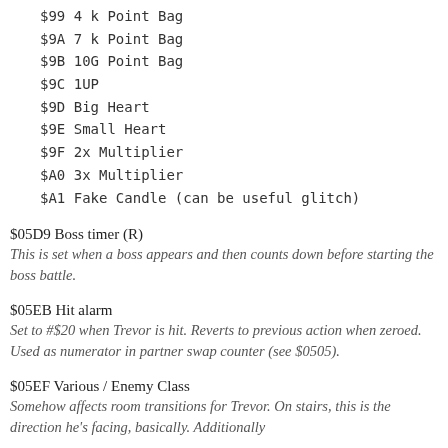$99  4 k Point Bag
$9A  7 k Point Bag
$9B  10G Point Bag
$9C  1UP
$9D  Big Heart
$9E  Small Heart
$9F  2x Multiplier
$A0  3x Multiplier
$A1  Fake Candle (can be useful glitch)
$05D9 Boss timer (R)
This is set when a boss appears and then counts down before starting the boss battle.
$05EB Hit alarm
Set to #$20 when Trevor is hit. Reverts to previous action when zeroed. Used as numerator in partner swap counter (see $0505).
$05EF Various / Enemy Class
Somehow affects room transitions for Trevor. On stairs, this is the direction he's facing, basically. Additionally